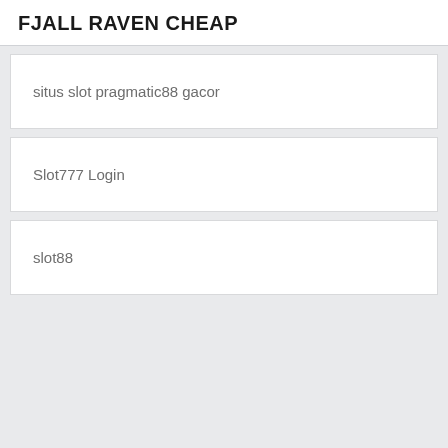FJALL RAVEN CHEAP
situs slot pragmatic88 gacor
Slot777 Login
slot88